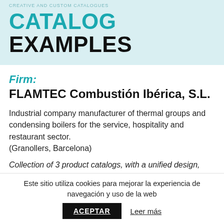CREATIVE AND CUSTOM CATALOGUES
CATALOG EXAMPLES
Firm:
FLAMTEC Combustión Ibérica, S.L.
Industrial company manufacturer of thermal groups and condensing boilers for the service, hospitality and restaurant sector. (Granollers, Barcelona)
Collection of 3 product catalogs, with a unified design, changing main colors, images, texts, tables
Este sitio utiliza cookies para mejorar la experiencia de navegación y uso de la web  ACEPTAR  Leer más